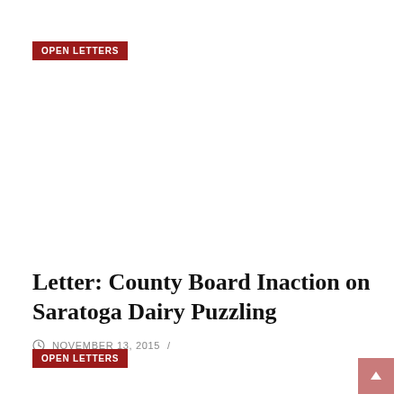OPEN LETTERS
Letter: County Board Inaction on Saratoga Dairy Puzzling
NOVEMBER 13, 2015 /
OPEN LETTERS